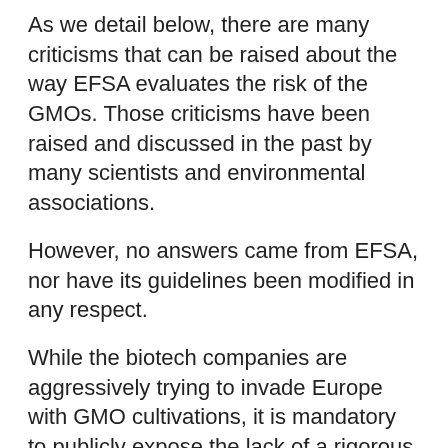As we detail below, there are many criticisms that can be raised about the way EFSA evaluates the risk of the GMOs. Those criticisms have been raised and discussed in the past by many scientists and environmental associations.
However, no answers came from EFSA, nor have its guidelines been modified in any respect.
While the biotech companies are aggressively trying to invade Europe with GMO cultivations, it is mandatory to publicly expose the lack of a rigorous and scientific evaluation of GMOs risks in the EFSA process as it comes from the guidelines and [process].
Furthermore, the risk assessment is only one of the factors under scrutiny when the EU Commission makes its final decision (almost every time against the opinion of the majority of States). We would like to know what